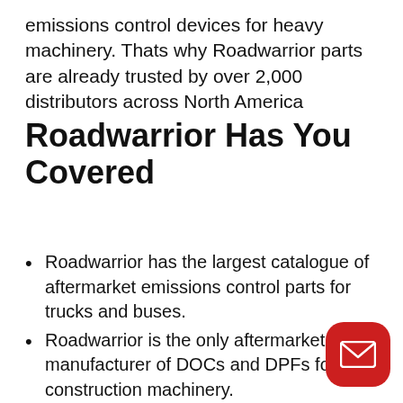emissions control devices for heavy machinery. Thats why Roadwarrior parts are already trusted by over 2,000 distributors across North America
Roadwarrior Has You Covered
Roadwarrior has the largest catalogue of aftermarket emissions control parts for trucks and buses.
Roadwarrior is the only aftermarket manufacturer of DOCs and DPFs for construction machinery.
Authorized distributors enjoy bulk order rates and stock discounts.
Distributors have access to Roadwarrior